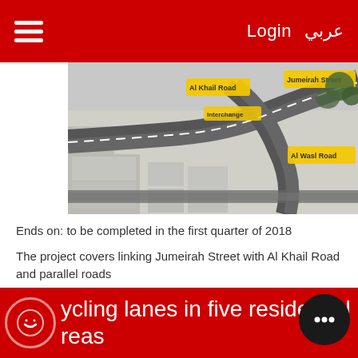≡  Login  عربي
[Figure (photo): Aerial/satellite-style 3D map rendering of an urban road interchange, showing highway interchanges and city blocks with yellow labels marking key road locations.]
Ends on: to be completed in the first quarter of 2018
The project covers linking Jumeirah Street with Al Khail Road and parallel roads
ycling lanes in five residential
reas